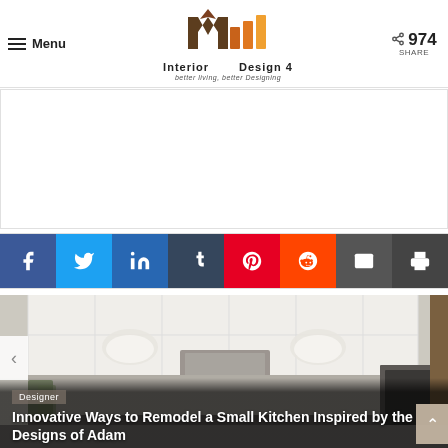Menu | Interior Design 4 | better living, better Designing | 974 SHARE
[Figure (screenshot): Interior Design 4 website header with logo, hamburger menu, share count of 974, and decorative colored rectangles]
[Figure (screenshot): Advertisement placeholder area (white rectangle with border)]
[Figure (screenshot): Social sharing bar with Facebook, Twitter, LinkedIn, Tumblr, Pinterest, Reddit, Email, and Print buttons]
[Figure (photo): Kitchen interior photo showing white cabinets, pendant lights, and stone backsplash]
Innovative Ways to Remodel a Small Kitchen Inspired by the Designs of Adam Gil...
Designer